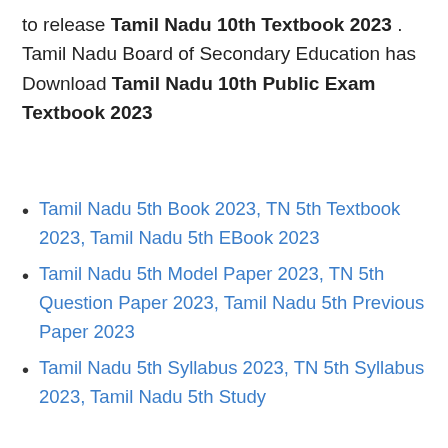to release Tamil Nadu 10th Textbook 2023 . Tamil Nadu Board of Secondary Education has Download Tamil Nadu 10th Public Exam Textbook 2023
Tamil Nadu 5th Book 2023, TN 5th Textbook 2023, Tamil Nadu 5th EBook 2023
Tamil Nadu 5th Model Paper 2023, TN 5th Question Paper 2023, Tamil Nadu 5th Previous Paper 2023
Tamil Nadu 5th Syllabus 2023, TN 5th Syllabus 2023, Tamil Nadu 5th Study